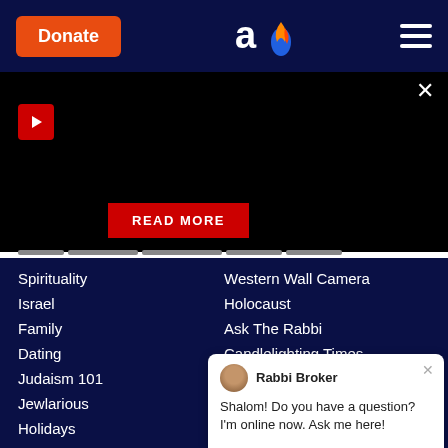Donate | Aish.com logo | Navigation menu
[Figure (screenshot): Dark video player area with play button and READ MORE button below]
Spirituality
Western Wall Camera
Israel
Holocaust
Family
Ask The Rabbi
Dating
Candlelighting Times
Judaism 101
Jewish Name & Birthdays
Jewlarious
Kaddish Service
Holidays
Aish Audio
Videos
Rabbi N...
Weekly Torah Portion
Seminar...
Rabbi Broker — Shalom! Do you have a question? I'm online now. Ask me here!